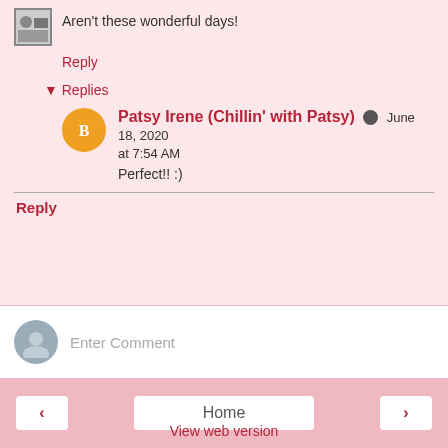Aren't these wonderful days!
Reply
▾ Replies
Patsy Irene (Chillin' with Patsy) June 18, 2020 at 7:54 AM
Perfect!! :)
Reply
Enter Comment
Home
View web version